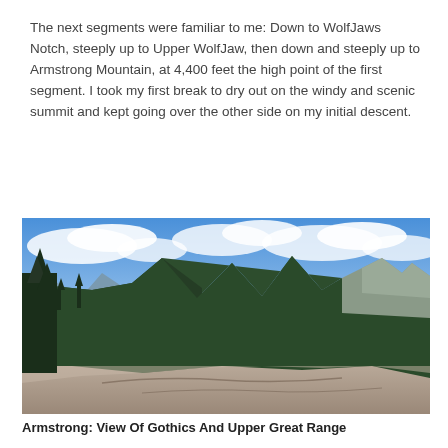The next segments were familiar to me: Down to WolfJaws Notch, steeply up to Upper WolfJaw, then down and steeply up to Armstrong Mountain, at 4,400 feet the high point of the first segment. I took my first break to dry out on the windy and scenic summit and kept going over the other side on my initial descent.
[Figure (photo): Panoramic mountain view from rocky summit showing forested peaks (Gothics and Upper Great Range) under a partly cloudy blue sky, with bare rock slabs in the foreground.]
Armstrong: View Of Gothics And Upper Great Range